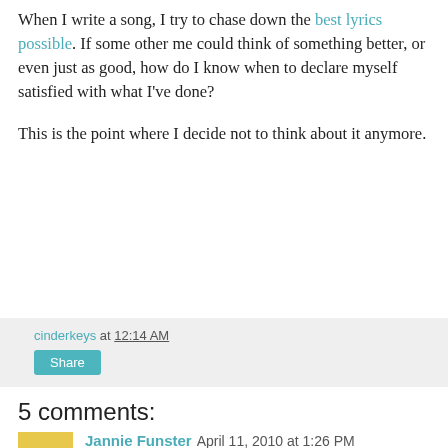When I write a song, I try to chase down the best lyrics possible. If some other me could think of something better, or even just as good, how do I know when to declare myself satisfied with what I've done?

This is the point where I decide not to think about it anymore.
cinderkeys at 12:14 AM
Share
5 comments:
Jannie Funster  April 11, 2010 at 1:26 PM
Cool thought on those alternate universes, they are infinite, I guess?
I try no to edit myself at all when new song is coming in, just let as much flow as possible. Then my real work begins when I tell myself it's time to take all the brainstorming and hone. There are